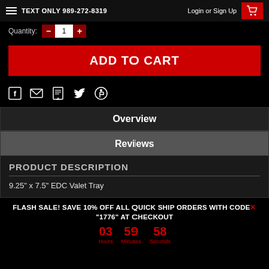TEXT ONLY 989-272-8319  Login or Sign Up
Quantity:
ADD TO CART
[Figure (infographic): Social media share icons: Facebook, Email, Print, Twitter, Pinterest]
Overview
Reviews
PRODUCT DESCRIPTION
9.25" x 7.5" EDC Valet Tray
FLASH SALE! SAVE 10% OFF ALL QUICK SHIP ORDERS WITH CODE "1776" AT CHECKOUT
03  Hours  59  Minutes  58  Seconds